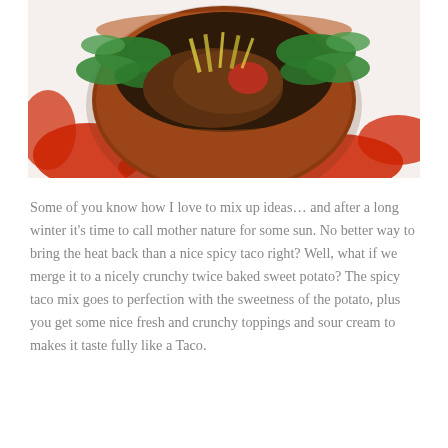[Figure (photo): A rustic terracotta brown bowl filled with greens (spinach leaves), meat, tomatoes, shredded cheese, and toppings, placed on a white surface with red chili pepper decorations.]
Some of you know how I love to mix up ideas… and after a long winter it's time to call mother nature for some sun. No better way to bring the heat back than a nice spicy taco right? Well, what if we merge it to a nicely crunchy twice baked sweet potato? The spicy taco mix goes to perfection with the sweetness of the potato, plus you get some nice fresh and crunchy toppings and sour cream to makes it taste fully like a Taco.